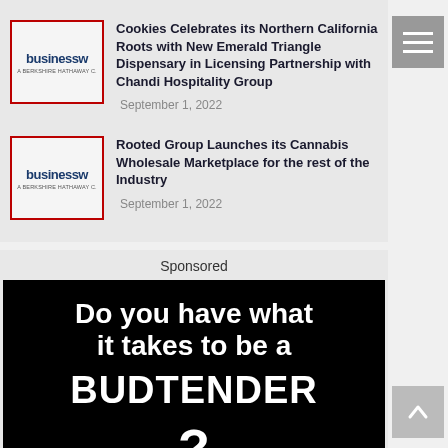[Figure (logo): BusinessWire / Berkshire Hathaway logo in red-bordered box]
Cookies Celebrates its Northern California Roots with New Emerald Triangle Dispensary in Licensing Partnership with Chandi Hospitality Group
September 1, 2022
[Figure (logo): BusinessWire / Berkshire Hathaway logo in red-bordered box]
Rooted Group Launches its Cannabis Wholesale Marketplace for the rest of the Industry
September 1, 2022
Sponsored
[Figure (infographic): Black background ad banner reading 'Do you have what it takes to be a BUDTENDER?' with a large question mark and green cannabis leaves]